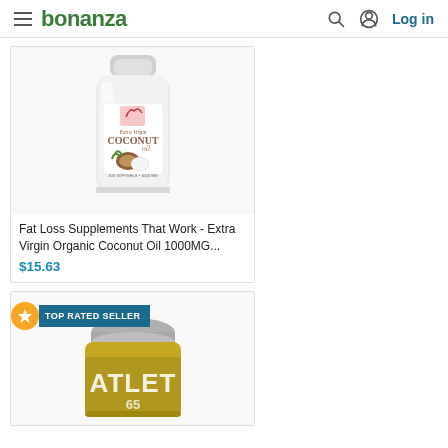bonanza — Log in
[Figure (photo): White bottle of Extra Virgin Coconut Oil supplement, 100 softgels 1000mg]
Fat Loss Supplements That Work - Extra Virgin Organic Coconut Oil 1000MG...
$15.63
[Figure (photo): Yellow/olive jar labeled ATLET 65, with gray lid — Top Rated Seller badge shown]
TOP RATED SELLER